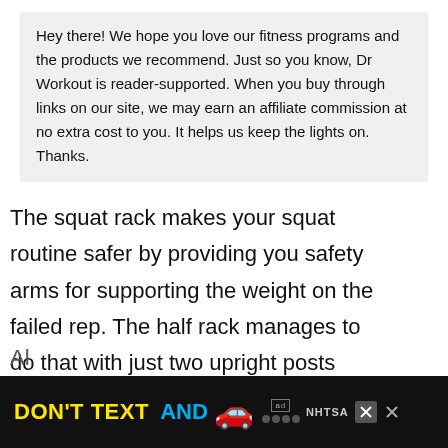Hey there! We hope you love our fitness programs and the products we recommend. Just so you know, Dr Workout is reader-supported. When you buy through links on our site, we may earn an affiliate commission at no extra cost to you. It helps us keep the lights on. Thanks.
The squat rack makes your squat routine safer by providing you safety arms for supporting the weight on the failed rep. The half rack manages to do that with just two upright posts instead of four. Thus, you need to be extra careful about stability, weight capacity while choosing a half rack for your garage gym.
[Figure (screenshot): Advertisement bar at the bottom: DON'T TEXT AND [car emoji] with ad and NHTSA logos, and close buttons]
Al...